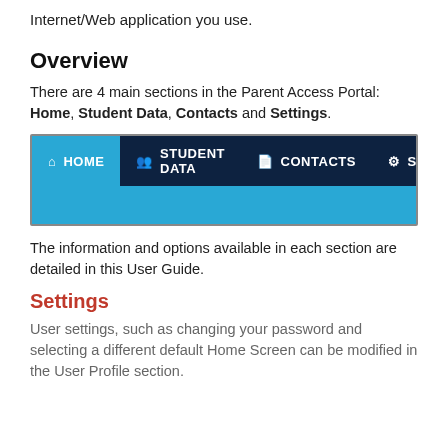Internet/Web application you use.
Overview
There are 4 main sections in the Parent Access Portal: Home, Student Data, Contacts and Settings.
[Figure (screenshot): Navigation bar of the Parent Access Portal showing four tabs: HOME (active, highlighted in blue), STUDENT DATA, CONTACTS, and SETTINGS on a dark navy background.]
The information and options available in each section are detailed in this User Guide.
Settings
User settings, such as changing your password and selecting a different default Home Screen can be modified in the User Profile section.